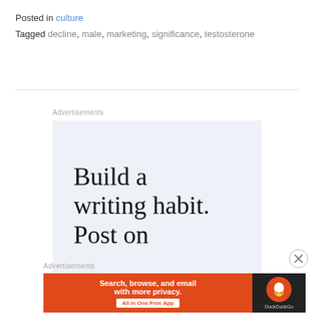Posted in culture
Tagged decline, male, marketing, significance, testosterone
Advertisements
[Figure (other): Ad box with large serif text reading 'Build a writing habit. Post on' on a light blue-gray background]
[Figure (other): Close/dismiss button (circled X) on the right side]
Advertisements
[Figure (other): DuckDuckGo banner ad: 'Search, browse, and email with more privacy. All in One Free App' on orange background with DuckDuckGo logo on dark right panel]